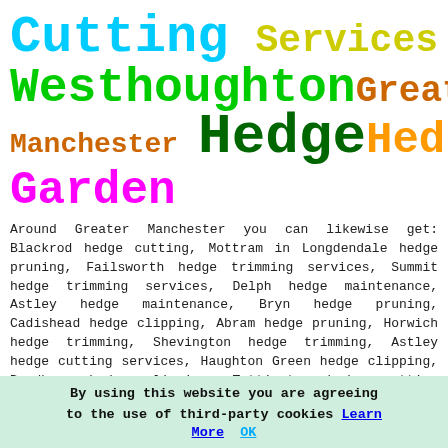Cutting Services Westhoughton Greater Manchester Hedge Hedges Garden
Around Greater Manchester you can likewise get: Blackrod hedge cutting, Mottram in Longdendale hedge pruning, Failsworth hedge trimming services, Summit hedge trimming services, Delph hedge maintenance, Astley hedge maintenance, Bryn hedge pruning, Cadishead hedge clipping, Abram hedge pruning, Horwich hedge trimming, Shevington hedge trimming, Astley hedge cutting services, Haughton Green hedge clipping, Bredbury hedge clipping, Tottington hedge cutting services, Blackrod hedge maintenance, Ramsbottom hedge cutting services, Flowery Field hedge
By using this website you are agreeing to the use of third-party cookies Learn More  OK